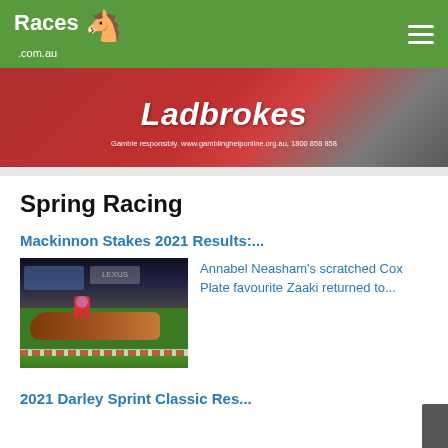Races.com.au
[Figure (photo): Ladbrokes advertisement banner with red background. Text reads: Ladbrokes. Gamble responsibly. www.gamblinghelponline.org.au, 1800 858 858]
Spring Racing
Mackinnon Stakes 2021 Results:....
[Figure (photo): Horse racing photo showing horses rounding a corner on a grass track with red barrier rail, crowd and signage in background including Lexus branding]
Annabel Neasham's scratched Cox Plate favourite Zaaki returned to...
2021 Darley Sprint Classic Res...